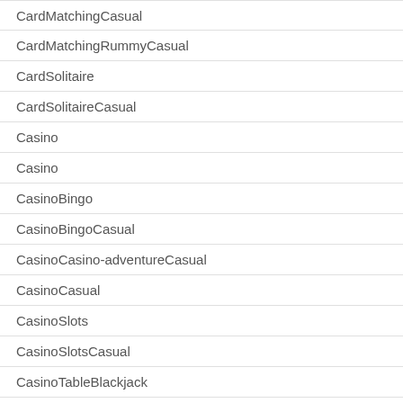CardMatchingCasual
CardMatchingRummyCasual
CardSolitaire
CardSolitaireCasual
Casino
Casino
CasinoBingo
CasinoBingoCasual
CasinoCasino-adventureCasual
CasinoCasual
CasinoSlots
CasinoSlotsCasual
CasinoTableBlackjack